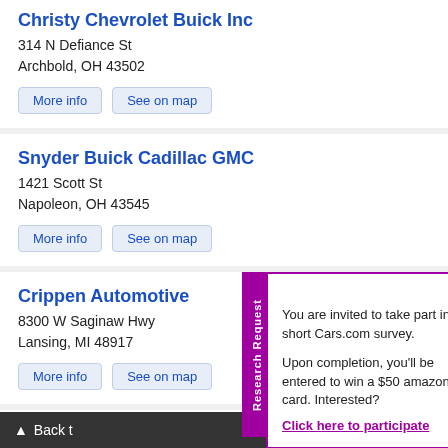Christy Chevrolet Buick Inc
314 N Defiance St
Archbold, OH 43502
More info  |  See on map
Snyder Buick Cadillac GMC
1421 Scott St
Napoleon, OH 43545
More info  |  See on map
Crippen Automotive
8300 W Saginaw Hwy
Lansing, MI 48917
More info  |  See on map
Sunnyside Chevrolet
1100 E Broad St
Elyria, OH 44035
Research Request - You are invited to take part in a short Cars.com survey. Upon completion, you'll be entered to win a $50 amazon gift card. Interested? Click here to participate